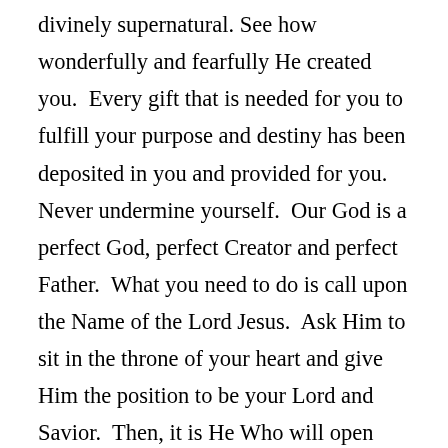...divinely supernatural. See how wonderfully and fearfully He created you. Every gift that is needed for you to fulfill your purpose and destiny has been deposited in you and provided for you. Never undermine yourself. Our God is a perfect God, perfect Creator and perfect Father. What you need to do is call upon the Name of the Lord Jesus. Ask Him to sit in the throne of your heart and give Him the position to be your Lord and Savior. Then, it is He Who will open your eyes to see the reality of who you are in His eyes as His beloved. The Holy Spirit will slowly unveil your eyes to see the significance of the finished work of Jesus Christ and as you believe and receive Him wholeheartedly, you will effortlessly walk in the love of God accordingly.